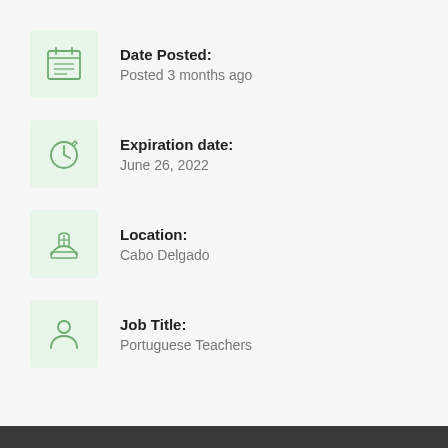Date Posted:
Posted 3 months ago
Expiration date:
June 26, 2022
Location:
Cabo Delgado
Job Title:
Portuguese Teachers